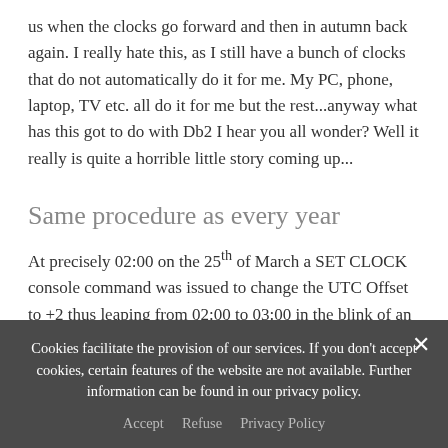us when the clocks go forward and then in autumn back again. I really hate this, as I still have a bunch of clocks that do not automatically do it for me. My PC, phone, laptop, TV etc. all do it for me but the rest...anyway what has this got to do with Db2 I hear you all wonder? Well it really is quite a horrible little story coming up...
Same procedure as every year
At precisely 02:00 on the 25th of March a SET CLOCK console command was issued to change the UTC Offset to +2 thus leaping from 02:00 to 03:00 in the blink of an eye.
Cookies facilitate the provision of our services. If you don't accept cookies, certain features of the website are not available. Further information can be found in our privacy policy.
Accept   Refuse   Privacy Policy